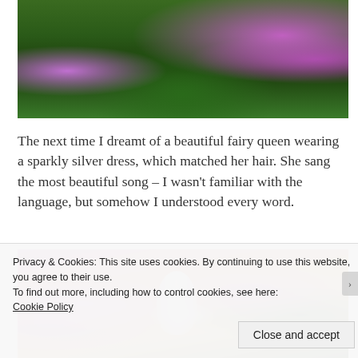[Figure (screenshot): Game screenshot showing a colorful fantasy forest scene with pink and purple flowering trees, green trees, and a path, rendered in a game engine style.]
The next time I dreamt of a beautiful fairy queen wearing a sparkly silver dress, which matched her hair. She sang the most beautiful song – I wasn’t familiar with the language, but somehow I understood every word.
[Figure (screenshot): Game screenshot showing a fairy character with silver hair and wings in a silvery white outfit, surrounded by large pink fantasy flowers and trees with an orange-tinted sky.]
Privacy & Cookies: This site uses cookies. By continuing to use this website, you agree to their use.
To find out more, including how to control cookies, see here:
Cookie Policy
Close and accept